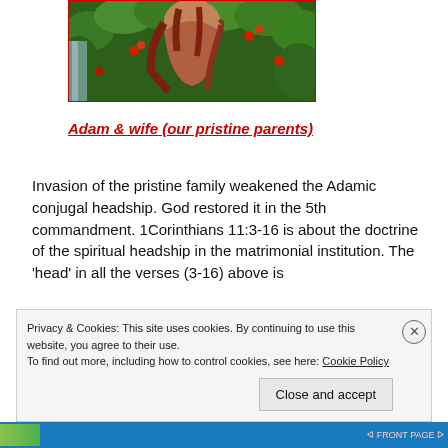[Figure (illustration): Partial image of a woman with long red/auburn hair surrounded by lush green foliage and red flowers, appearing to be an artistic depiction of Eve in the Garden of Eden]
Adam & wife (our pristine parents)
Invasion of the pristine family weakened the Adamic conjugal headship. God restored it in the 5th commandment. 1Corinthians 11:3-16 is about the doctrine of the spiritual headship in the matrimonial institution. The 'head' in all the verses (3-16) above is
Privacy & Cookies: This site uses cookies. By continuing to use this website, you agree to their use.
To find out more, including how to control cookies, see here: Cookie Policy
Close and accept